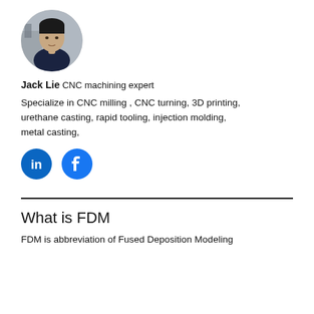[Figure (photo): Circular profile photo of Jack Lie, a man in dark clothing, with manufacturing equipment in background]
Jack Lie CNC machining expert
Specialize in CNC milling , CNC turning, 3D printing, urethane casting, rapid tooling, injection molding, metal casting,
[Figure (logo): LinkedIn and Facebook social media icon buttons in blue circles]
What is FDM
FDM is abbreviation of Fused Deposition Modeling